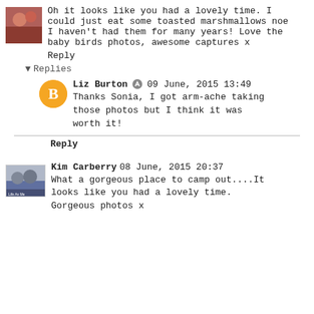Oh it looks like you had a lovely time. I could just eat some toasted marshmallows noe I haven't had them for many years! Love the baby birds photos, awesome captures x
Reply
▾ Replies
Liz Burton 09 June, 2015 13:49
Thanks Sonia, I got arm-ache taking those photos but I think it was worth it!
Reply
Kim Carberry 08 June, 2015 20:37
What a gorgeous place to camp out....It looks like you had a lovely time. Gorgeous photos x